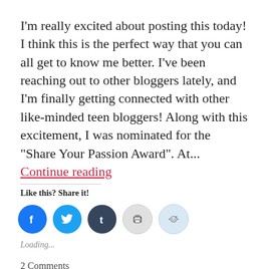I'm really excited about posting this today! I think this is the perfect way that you can all get to know me better. I've been reaching out to other bloggers lately, and I'm finally getting connected with other like-minded teen bloggers! Along with this excitement, I was nominated for the "Share Your Passion Award". At... Continue reading
Like this? Share it!
[Figure (other): Social sharing icons: Facebook (blue circle with f), Twitter (light blue circle with bird icon), Tumblr (dark circle with t), Print (light gray circle with printer icon), Reddit (light blue circle with alien icon)]
Loading...
2 Comments